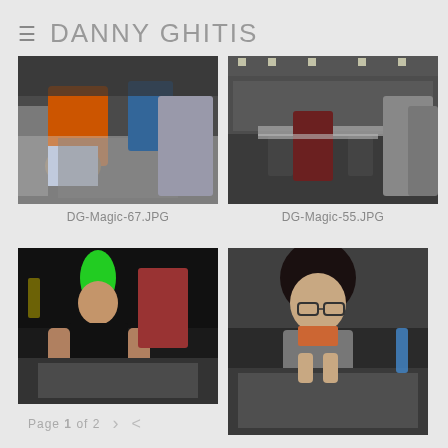DANNY GHITIS
[Figure (photo): People playing Magic: The Gathering card game at a table, including someone in an orange shirt and a child in a colorful hat]
DG-Magic-67.JPG
[Figure (photo): Wide shot of a large convention hall filled with people playing Magic: The Gathering at long tables]
DG-Magic-55.JPG
[Figure (photo): Man with a green mohawk hairstyle playing cards at a table in a dark venue]
[Figure (photo): Young woman with glasses and dark hair looking down at cards on a table]
Page 1 of 2